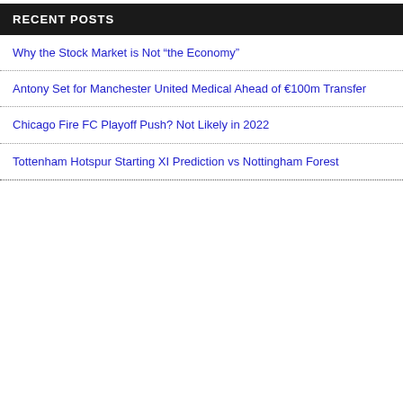RECENT POSTS
Why the Stock Market is Not “the Economy”
Antony Set for Manchester United Medical Ahead of €100m Transfer
Chicago Fire FC Playoff Push? Not Likely in 2022
Tottenham Hotspur Starting XI Prediction vs Nottingham Forest